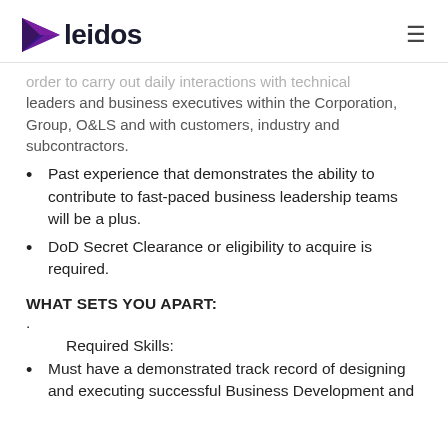leidos
order to carry out daily interactions with technical leaders and business executives within the Corporation, Group, O&LS and with customers, industry and subcontractors.
Past experience that demonstrates the ability to contribute to fast-paced business leadership teams will be a plus.
DoD Secret Clearance or eligibility to acquire is required.
WHAT SETS YOU APART:
.
Required Skills:
Must have a demonstrated track record of designing and executing successful Business Development and